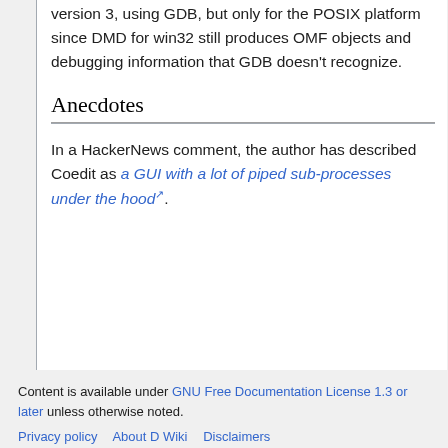version 3, using GDB, but only for the POSIX platform since DMD for win32 still produces OMF objects and debugging information that GDB doesn't recognize.
Anecdotes
In a HackerNews comment, the author has described Coedit as a GUI with a lot of piped sub-processes under the hood⧄.
Content is available under GNU Free Documentation License 1.3 or later unless otherwise noted.
Privacy policy   About D Wiki   Disclaimers
[Figure (logo): GNU FDL Free Doc License badge]
[Figure (logo): Powered by MediaWiki and Powered by Semantic MediaWiki badges]